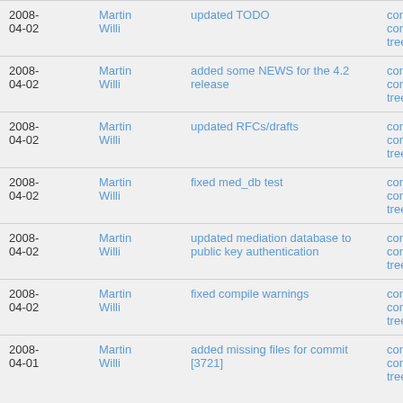| Date | Author | Message | Links |
| --- | --- | --- | --- |
| 2008-04-02 | Martin Willi | updated TODO | commit | commitdiff | tree |
| 2008-04-02 | Martin Willi | added some NEWS for the 4.2 release | commit | commitdiff | tree |
| 2008-04-02 | Martin Willi | updated RFCs/drafts | commit | commitdiff | tree |
| 2008-04-02 | Martin Willi | fixed med_db test | commit | commitdiff | tree |
| 2008-04-02 | Martin Willi | updated mediation database to public key authentication | commit | commitdiff | tree |
| 2008-04-02 | Martin Willi | fixed compile warnings | commit | commitdiff | tree |
| 2008-04-01 | Martin Willi | added missing files for commit [3721] | commit | commitdiff | tree |